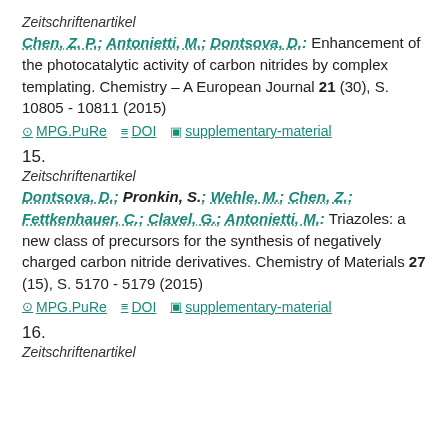Zeitschriftenartikel
Chen, Z. P.; Antonietti, M.; Dontsova, D.: Enhancement of the photocatalytic activity of carbon nitrides by complex templating. Chemistry – A European Journal 21 (30), S. 10805 - 10811 (2015)
MPG.PuRe  DOI  supplementary-material
15.
Zeitschriftenartikel
Dontsova, D.; Pronkin, S.; Wehle, M.; Chen, Z.; Fettkenhauer, C.; Clavel, G.; Antonietti, M.: Triazoles: a new class of precursors for the synthesis of negatively charged carbon nitride derivatives. Chemistry of Materials 27 (15), S. 5170 - 5179 (2015)
MPG.PuRe  DOI  supplementary-material
16.
Zeitschriftenartikel